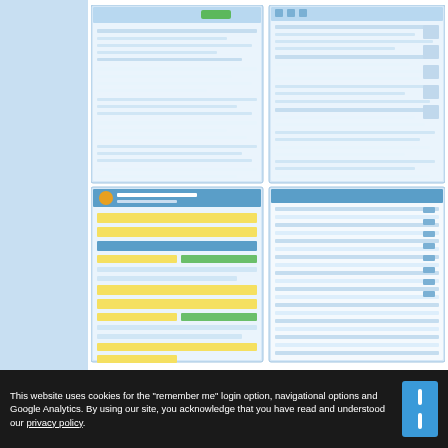[Figure (screenshot): Grid of software application screenshots showing spreadsheet/form interfaces with blue and yellow highlighted rows, tables, and navigation menus]
[Figure (illustration): NEW badge icon in blue outline style (starburst/seal shape with 'NEW' text), a small icon, and a shield/mask icon]
This website uses cookies for the "remember me" login option, navigational options and Google Analytics. By using our site, you acknowledge that you have read and understood our privacy policy.